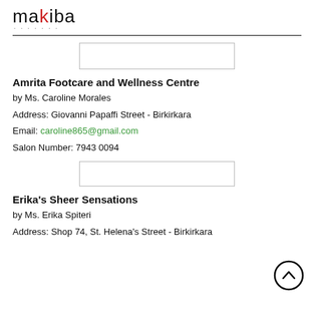makiba
[Figure (other): Empty placeholder box (image slot)]
Amrita Footcare and Wellness Centre
by Ms. Caroline Morales
Address: Giovanni Papaffi Street - Birkirkara
Email: caroline865@gmail.com
Salon Number: 7943 0094
[Figure (other): Empty placeholder box (image slot)]
Erika's Sheer Sensations
by Ms. Erika Spiteri
Address: Shop 74, St. Helena's Street - Birkirkara